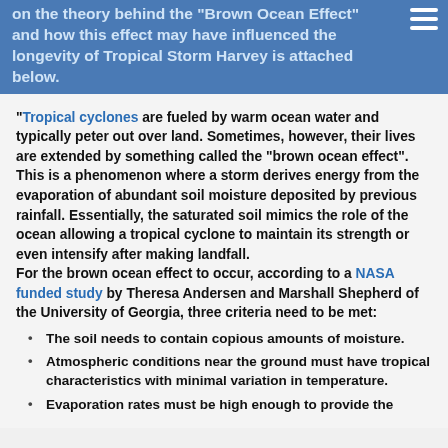on the theory behind the "brown ocean effect" and how this effect may have influenced the longevity of Tropical Storm Harvey is attached below.
"Tropical cyclones are fueled by warm ocean water and typically peter out over land. Sometimes, however, their lives are extended by something called the “brown ocean effect”. This is a phenomenon where a storm derives energy from the evaporation of abundant soil moisture deposited by previous rainfall. Essentially, the saturated soil mimics the role of the ocean allowing a tropical cyclone to maintain its strength or even intensify after making landfall.
For the brown ocean effect to occur, according to a NASA funded study by Theresa Andersen and Marshall Shepherd of the University of Georgia, three criteria need to be met:
The soil needs to contain copious amounts of moisture.
Atmospheric conditions near the ground must have tropical characteristics with minimal variation in temperature.
Evaporation rates must be high enough to provide the